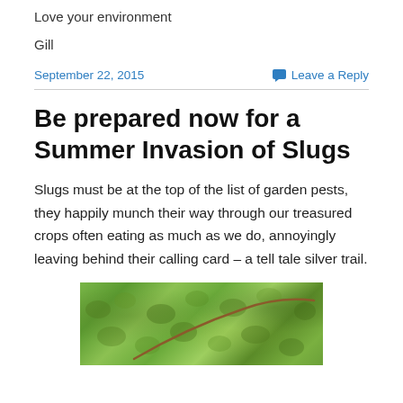Love your environment
Gill
September 22, 2015
Leave a Reply
Be prepared now for a Summer Invasion of Slugs
Slugs must be at the top of the list of garden pests, they happily munch their way through our treasured crops often eating as much as we do, annoyingly leaving behind their calling card – a tell tale silver trail.
[Figure (photo): Close-up photograph of green moss with a brown twig or stem visible]